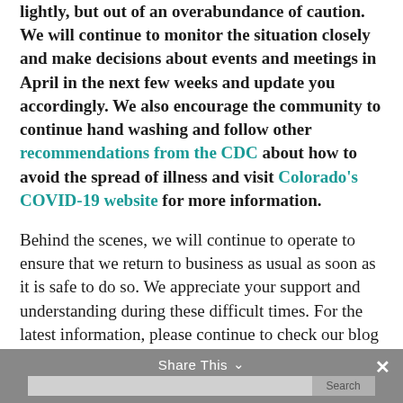lightly, but out of an overabundance of caution. We will continue to monitor the situation closely and make decisions about events and meetings in April in the next few weeks and update you accordingly. We also encourage the community to continue hand washing and follow other recommendations from the CDC about how to avoid the spread of illness and visit Colorado's COVID-19 website for more information.
Behind the scenes, we will continue to operate to ensure that we return to business as usual as soon as it is safe to do so. We appreciate your support and understanding during these difficult times. For the latest information, please continue to check our blog at www.IlluminateColorado.org/news
Share This ∨   ✕   Search